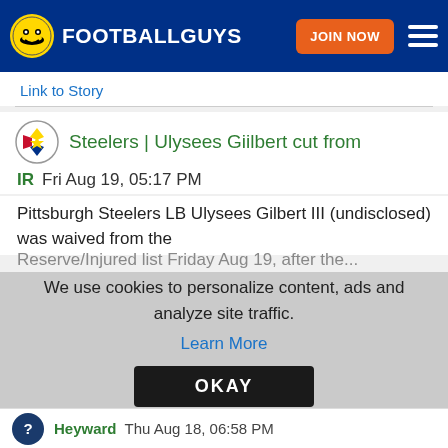FOOTBALLGUYS | JOIN NOW
Link to Story
Steelers | Ulysees Giilbert cut from
IR   Fri Aug 19, 05:17 PM
Pittsburgh Steelers LB Ulysees Gilbert III (undisclosed) was waived from the
We use cookies to personalize content, ads and analyze site traffic.
Learn More
OKAY
Heyward   Thu Aug 18, 06:58 PM